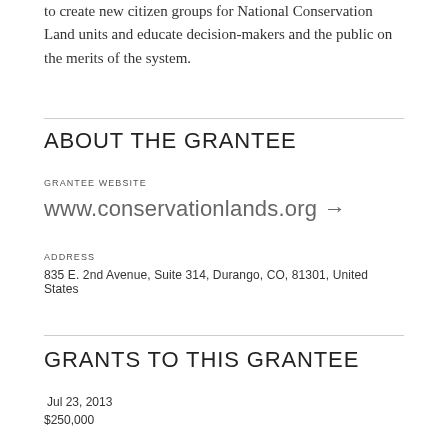to create new citizen groups for National Conservation Land units and educate decision-makers and the public on the merits of the system.
ABOUT THE GRANTEE
GRANTEE WEBSITE
www.conservationlands.org →
ADDRESS
835 E. 2nd Avenue, Suite 314, Durango, CO, 81301, United States
GRANTS TO THIS GRANTEE
Jul 23, 2013
$250,000